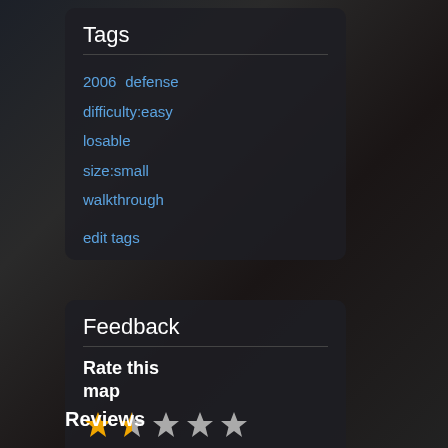Tags
2006
defense
difficulty:easy
losable
size:small
walkthrough
edit tags
Feedback
Rate this map
[Figure (other): Star rating: 1.3 out of 5 stars, shown as 1 full star, 1 half star, 3 empty stars]
1.3 / 5   (3 votes)
Reviews